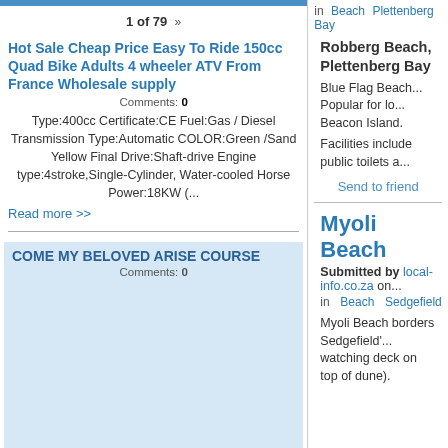1 of 79 »
Hot Sale Cheap Price Easy To Ride 150cc Quad Bike Adults 4 wheeler ATV From France Wholesale supply
Comments: 0
Type:400cc Certificate:CE Fuel:Gas / Diesel Transmission Type:Automatic COLOR:Green /Sand Yellow Final Drive:Shaft-drive Engine type:4stroke,Single-Cylinder, Water-cooled Horse Power:18KW (...
Read more >>
COME MY BELOVED ARISE COURSE
Comments: 0
Come My beloved, Arise! 2022 is the year of "what you touch turns to gold!" A 12 week course in restoration, healing, personal breakthrough and self empowerment "When
in Beach Plettenberg Bay
Robberg Beach, Plettenberg Bay
Blue Flag Beach... Popular for lo... Beacon Island.
Facilities include public toilets a...
Send to friend
Myoli Beach
Submitted by local-info.co.za on...
in Beach Sedgefield
Myoli Beach borders Sedgefield'... watching deck on top of dune).